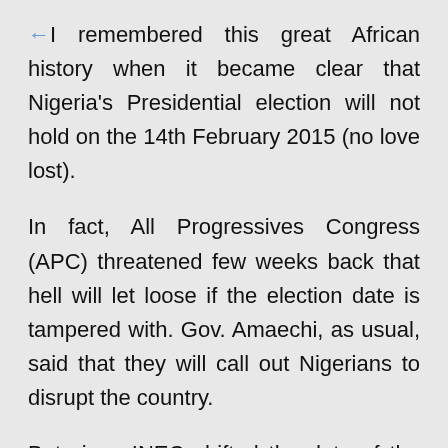I remembered this great African history when it became clear that Nigeria's Presidential election will not hold on the 14th February 2015 (no love lost).
In fact, All Progressives Congress (APC) threatened few weeks back that hell will let loose if the election date is tampered with. Gov. Amaechi, as usual, said that they will call out Nigerians to disrupt the country.
But since INEC shifted the date of the election, the country appeared calmer than when Jonathan was campaigning in the North. It's like